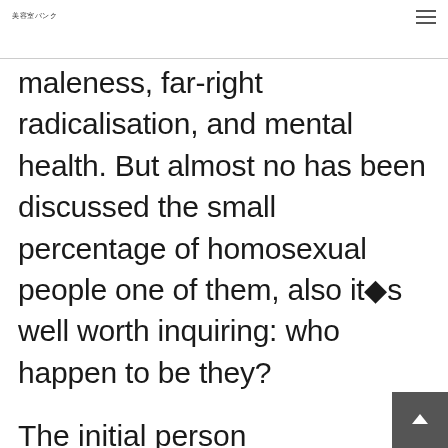美容室バンク
maleness, far-right radicalisation, and mental health. But almost no has been discussed the small percentage of homosexual people one of them, also it�s well worth inquiring: who happen to be they?
The initial person https://besthookupwebsites.org/maturequality-singles-review/ I talk with, just who asks to remain anonymous, try 18 years old. He not too long ago relocated to